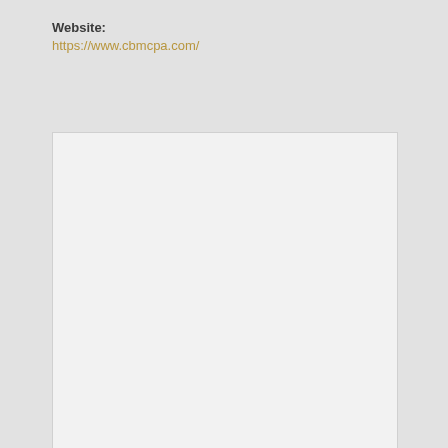Website: https://www.cbmcpa.com/
[Figure (other): A blank white/light grey rectangular box, likely a placeholder for an image or content that did not load.]